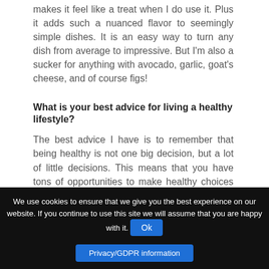makes it feel like a treat when I do use it. Plus it adds such a nuanced flavor to seemingly simple dishes. It is an easy way to turn any dish from average to impressive. But I'm also a sucker for anything with avocado, garlic, goat's cheese, and of course figs!
What is your best advice for living a healthy lifestyle?
The best advice I have is to remember that being healthy is not one big decision, but a lot of little decisions. This means that you have tons of opportunities to make healthy choices every day. Every time you choose an apple over a cookie
We use cookies to ensure that we give you the best experience on our website. If you continue to use this site we will assume that you are happy with it.
Ok
Privacy/GDPR information